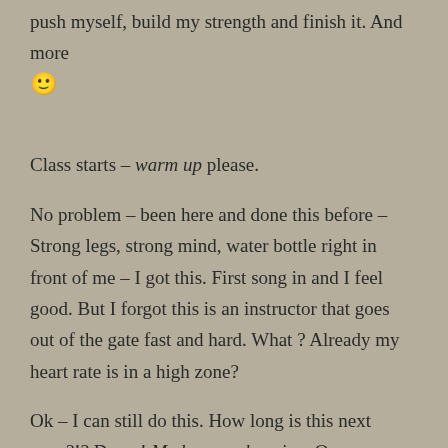push myself, build my strength and finish it. And more 🙂
Class starts – warm up please.
No problem – been here and done this before – Strong legs, strong mind, water bottle right in front of me – I got this. First song in and I feel good. But I forgot this is an instructor that goes out of the gate fast and hard. What ? Already my heart rate is in a high zone?
Ok – I can still do this. How long is this next song?!? Damn! My legs are burning. Our instructor keeps telling us to keep spinning – 90-100 RPM, yellow and red zone intervals. Sit, stand, hover, repeat. My heart rate is in the red zone. Top level.